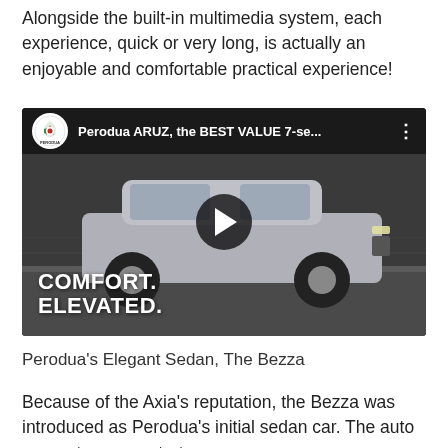Alongside the built-in multimedia system, each experience, quick or very long, is actually an enjoyable and comfortable practical experience!
[Figure (screenshot): YouTube video thumbnail for 'Perodua ARUZ, the BEST VALUE 7-se...' showing a silver SUV driving on a road with text 'COMFORT. ELEVATED.' overlaid. Perodua logo visible in top-left corner.]
Perodua's Elegant Sedan, The Bezza
Because of the Axia's reputation, the Bezza was introduced as Perodua's initial sedan car. The auto generator concentrates